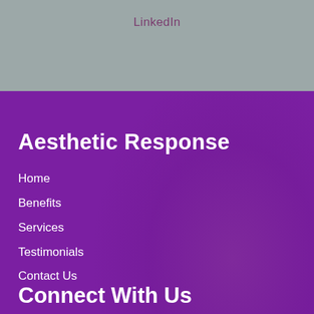LinkedIn
Aesthetic Response
Home
Benefits
Services
Testimonials
Contact Us
Connect With Us